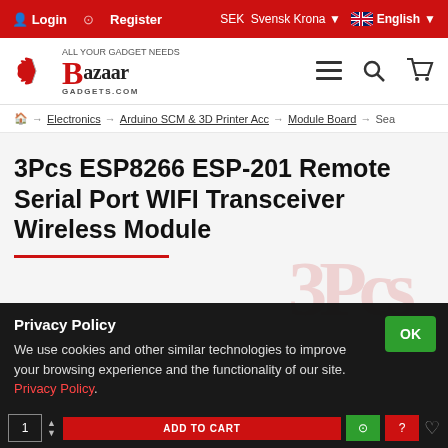Login | Register | SEK Svensk Krona | English
[Figure (logo): Bazaar Gadgets logo with red B and text BazaarGADGETS.COM]
Electronics → Arduino SCM & 3D Printer Acc → Module Board → Sea
3Pcs ESP8266 ESP-201 Remote Serial Port WIFI Transceiver Wireless Module
Privacy Policy
We use cookies and other similar technologies to improve your browsing experience and the functionality of our site. Privacy Policy.